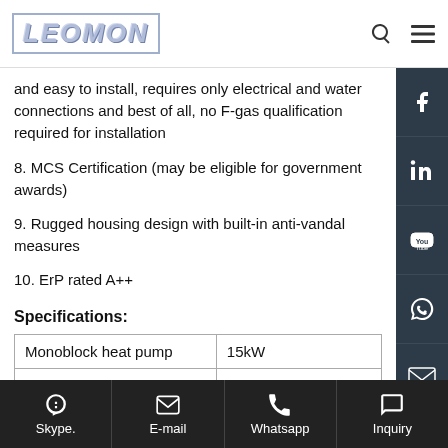LEOMON
and easy to install, requires only electrical and water connections and best of all, no F-gas qualification required for installation
8. MCS Certification (may be eligible for government awards)
9. Rugged housing design with built-in anti-vandal measures
10. ErP rated A++
Specifications:
| Monoblock heat pump | 15kW |
| --- | --- |
|  |  |